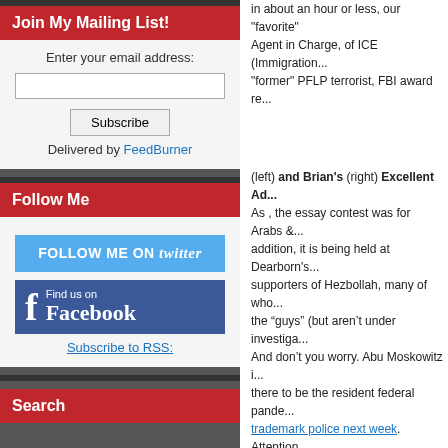Join My Mailing List!
Enter your email address: [input field] Subscribe Delivered by FeedBurner
Follow Me
[Figure (screenshot): Follow Me on Twitter button (blue)]
[Figure (screenshot): Find us on Facebook box (blue)]
Subscribe to RSS:
Search
in about an hour or less, our "favorite" Agent in Charge, of ICE (Immigration... "former" PFLP terrorist, FBI award re...
(left) and Brian's (right) Excellent Ad... As , the essay contest was for Arabs ... addition, it is being held at Dearborn's... supporters of Hezbollah, many of who... the “guys” (but aren’t under investiga... And don’t you worry. Abu Moskowitz i... there to be the resident federal pande... trademark police next week. Attention... To remind you, this is the man who wa... Lucky America. More on Abu Moskowitz’s excellent S... his lies about snatching t-shirts, but w... tuned . . . .
Tags: Abu M, America, Brian Moskow... Counter, Debbie Schlussel, Diss M...